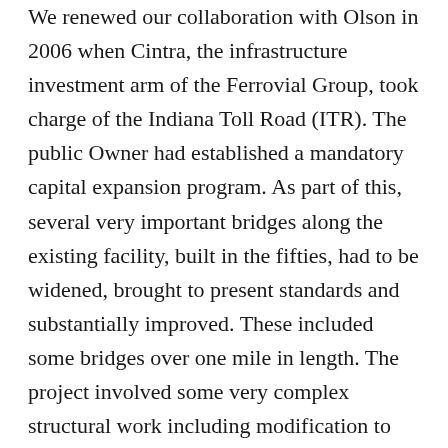We renewed our collaboration with Olson in 2006 when Cintra, the infrastructure investment arm of the Ferrovial Group, took charge of the Indiana Toll Road (ITR). The public Owner had established a mandatory capital expansion program. As part of this, several very important bridges along the existing facility, built in the fifties, had to be widened, brought to present standards and substantially improved. These included some bridges over one mile in length. The project involved some very complex structural work including modification to the steel structure, jacking and tilting the decks up to 4 ft to provide standard crossfall, etc. In what may have been one of the most extensive condition evaluations carried out by the private sector in North America, Ferrovial Agroman turned to Olson to provide both NDT and destructive testing for an exhaustive evaluation of